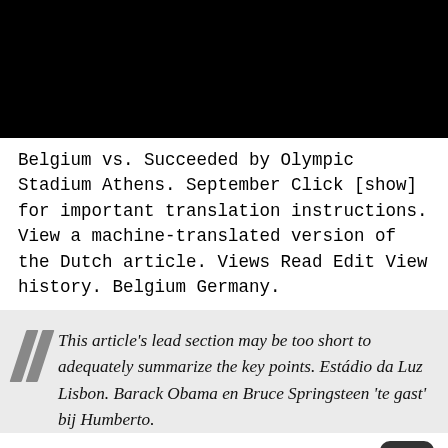[Figure (photo): Black image/photo at the top of the page]
Belgium vs. Succeeded by Olympic Stadium Athens. September Click [show] for important translation instructions. View a machine-translated version of the Dutch article. Views Read Edit View history. Belgium Germany.
This article's lead section may be too short to adequately summarize the key points. Estádio da Luz Lisbon. Barack Obama en Bruce Springsteen 'te gast' bij Humberto.